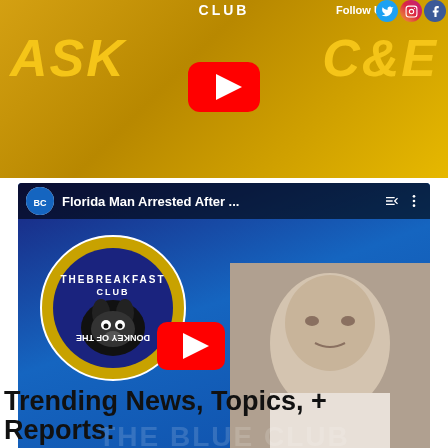[Figure (screenshot): YouTube video thumbnail for 'Ask C&E' show with two men posing in front of yellow background with logos, YouTube play button overlay, and Follow Us social media icons.]
[Figure (screenshot): YouTube video thumbnail titled 'Florida Man Arrested After...' featuring Donkey of the Day logo, a mugshot of an elderly white man, and VOLUSIA COUNTY SHERIFF'S OFFICE text at bottom.]
Trending News, Topics, + Reports: